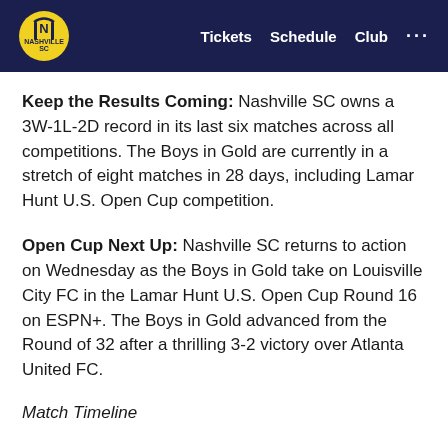Tickets  Schedule  Club  ...
Keep the Results Coming: Nashville SC owns a 3W-1L-2D record in its last six matches across all competitions. The Boys in Gold are currently in a stretch of eight matches in 28 days, including Lamar Hunt U.S. Open Cup competition.
Open Cup Next Up: Nashville SC returns to action on Wednesday as the Boys in Gold take on Louisville City FC in the Lamar Hunt U.S. Open Cup Round 16 on ESPN+. The Boys in Gold advanced from the Round of 32 after a thrilling 3-2 victory over Atlanta United FC.
Match Timeline